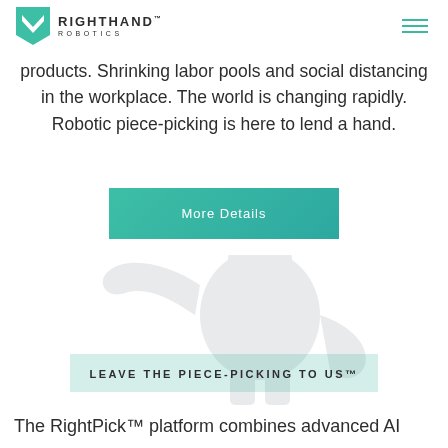RIGHTHAND ROBOTICS
products. Shrinking labor pools and social distancing in the workplace. The world is changing rapidly. Robotic piece-picking is here to lend a hand.
More Details
[Figure (illustration): White/light grey silhouette of a humanoid robot figure with one arm raised, set against a white background]
LEAVE THE PIECE-PICKING TO US™
The RightPick™ platform combines advanced AI